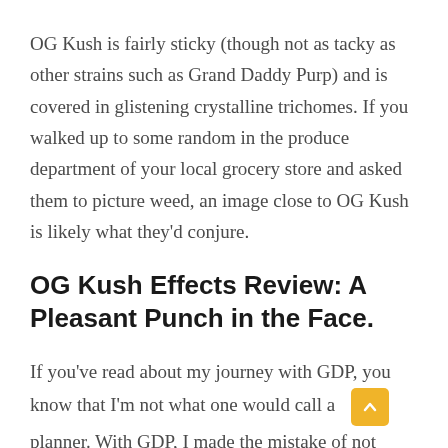OG Kush is fairly sticky (though not as tacky as other strains such as Grand Daddy Purp) and is covered in glistening crystalline trichomes. If you walked up to some random in the produce department of your local grocery store and asked them to picture weed, an image close to OG Kush is likely what they'd conjure.
OG Kush Effects Review: A Pleasant Punch in the Face.
If you've read about my journey with GDP, you know that I'm not what one would call a planner. With GDP, I made the mistake of not